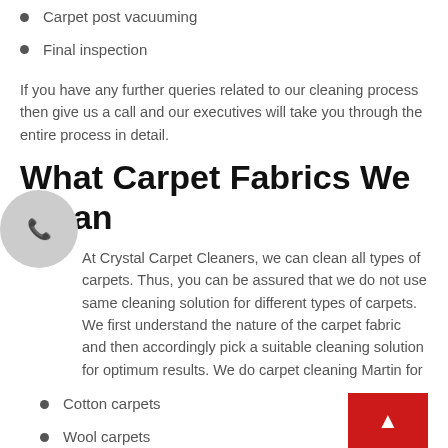Carpet post vacuuming
Final inspection
If you have any further queries related to our cleaning process then give us a call and our executives will take you through the entire process in detail.
What Carpet Fabrics We Clean
At Crystal Carpet Cleaners, we can clean all types of carpets. Thus, you can be assured that we do not use same cleaning solution for different types of carpets. We first understand the nature of the carpet fabric and then accordingly pick a suitable cleaning solution for optimum results. We do carpet cleaning Martin for
Cotton carpets
Wool carpets
Acrylic carpets
Polypropylene carpets